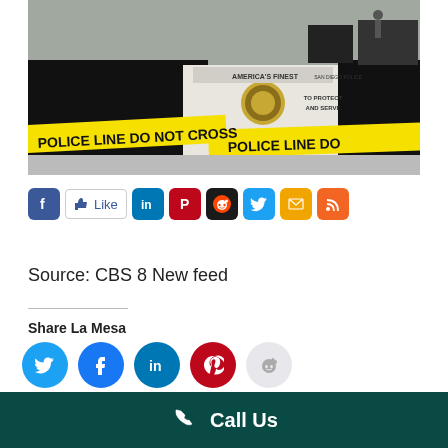[Figure (photo): San Diego Police car with 'America's Finest - To Protect and Serve' markings, behind yellow police line tape at a crime scene.]
[Figure (infographic): Social sharing buttons: Facebook, Like, LinkedIn, Pinterest, Reddit, Twitter, Email, RSS]
Source: CBS 8 New feed
[Figure (infographic): Social sharing circles: Twitter, Facebook, LinkedIn, Pinterest, Reddit]
Share La Mesa
Call Us